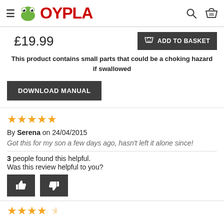OYPLA (website header with logo, search, basket)
£19.99
ADD TO BASKET
This product contains small parts that could be a choking hazard if swallowed
DOWNLOAD MANUAL
[Figure (other): Five gold star rating]
By Serena on 24/04/2015
Got this for my son a few days ago, hasn't left it alone since!
3 people found this helpful.
Was this review helpful to you?
[Figure (other): Thumbs up and thumbs down vote buttons]
[Figure (other): Partial star rating row at bottom of page]